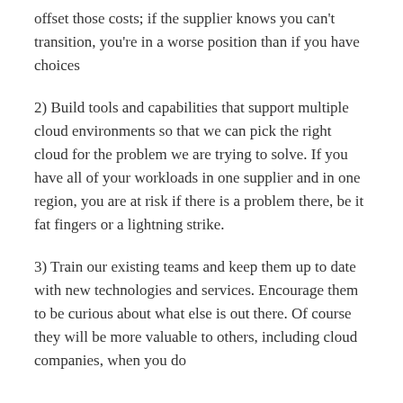offset those costs; if the supplier knows you can't transition, you're in a worse position than if you have choices
2) Build tools and capabilities that support multiple cloud environments so that we can pick the right cloud for the problem we are trying to solve. If you have all of your workloads in one supplier and in one region, you are at risk if there is a problem there, be it fat fingers or a lightning strike.
3) Train our existing teams and keep them up to date with new technologies and services. Encourage them to be curious about what else is out there. Of course they will be more valuable to others, including cloud companies, when you do